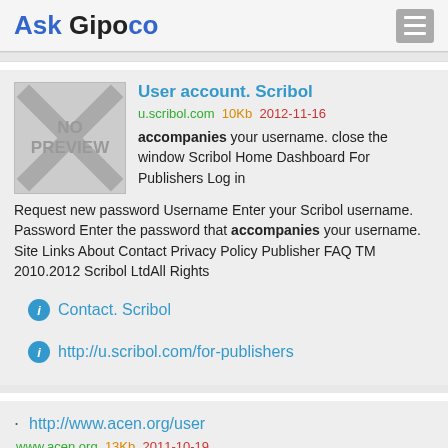Ask Gipoco
User account. Scribol
u.scribol.com 10Kb 2012-11-16
accompanies your username. close the window Scribol Home Dashboard For Publishers Log in Request new password Username Enter your Scribol username. Password Enter the password that accompanies your username. Site Links About Contact Privacy Policy Publisher FAQ TM 2010.2012 Scribol LtdAll Rights
Contact. Scribol
http://u.scribol.com/for-publishers
· http://www.acen.org/user
www.acen.org 13Kb 2011-10-19
accompanies your username. Contact Us. Privacy Notice. Follow us on Twitter Facebook and our Blog. Join our Mailing